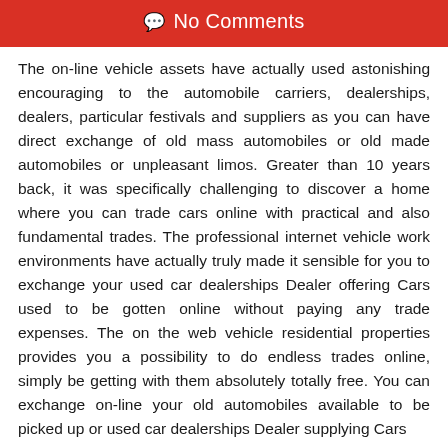No Comments
The on-line vehicle assets have actually used astonishing encouraging to the automobile carriers, dealerships, dealers, particular festivals and suppliers as you can have direct exchange of old mass automobiles or old made automobiles or unpleasant limos. Greater than 10 years back, it was specifically challenging to discover a home where you can trade cars online with practical and also fundamental trades. The professional internet vehicle work environments have actually truly made it sensible for you to exchange your used car dealerships Dealer offering Cars used to be gotten online without paying any trade expenses. The on the web vehicle residential properties provides you a possibility to do endless trades online, simply be getting with them absolutely totally free. You can exchange on-line your old automobiles available to be picked up or used car dealerships Dealer supplying Cars